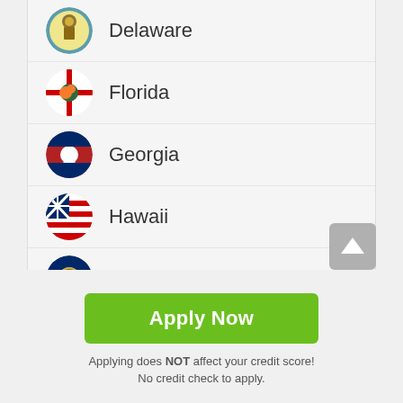Delaware
Florida
Georgia
Hawaii
Idaho
Illinois
Apply Now
Applying does NOT affect your credit score! No credit check to apply.